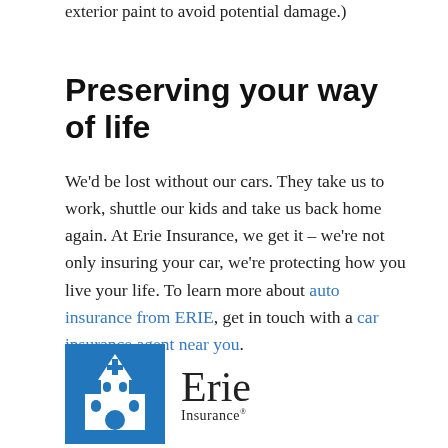exterior paint to avoid potential damage.)
Preserving your way of life
We'd be lost without our cars. They take us to work, shuttle our kids and take us back home again. At Erie Insurance, we get it – we're not only insuring your car, we're protecting how you live your life. To learn more about auto insurance from ERIE, get in touch with a car insurance agent near you.
[Figure (logo): Erie Insurance logo: blue square with white church/building illustration, followed by the word 'Erie' in large serif font and 'Insurance' below in smaller text]